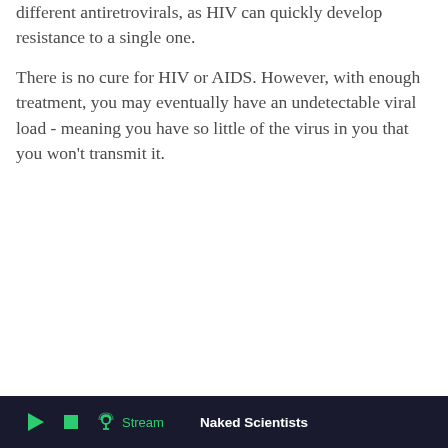different antiretrovirals, as HIV can quickly develop resistance to a single one.
There is no cure for HIV or AIDS. However, with enough treatment, you may eventually have an undetectable viral load - meaning you have so little of the virus in you that you won't transmit it.
Stream  Naked Scientists